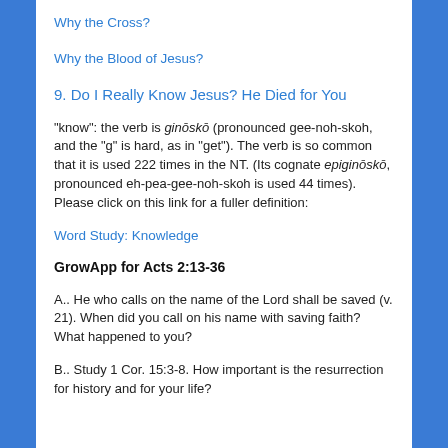Why the Cross?
Why the Blood of Jesus?
9. Do I Really Know Jesus? He Died for You
“know”: the verb is ginōskō (pronounced gee-noh-skoh, and the “g” is hard, as in “get”). The verb is so common that it is used 222 times in the NT. (Its cognate epiginōskō, pronounced eh-pea-gee-noh-skoh is used 44 times). Please click on this link for a fuller definition:
Word Study: Knowledge
GrowApp for Acts 2:13-36
A.. He who calls on the name of the Lord shall be saved (v. 21). When did you call on his name with saving faith? What happened to you?
B.. Study 1 Cor. 15:3-8. How important is the resurrection for history and for your life?